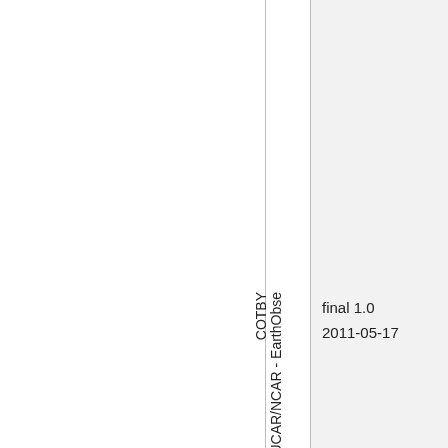|  | UCAR/NCAR-EarthObse... | final 1.0
2011-05-17 |
| --- | --- | --- |
|  |  |  |